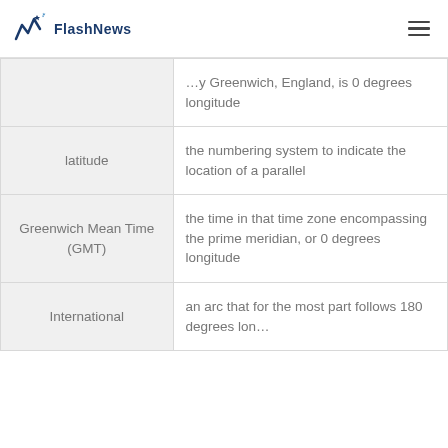FlashNews
| Term | Definition |
| --- | --- |
|  | …y Greenwich, England, is 0 degrees longitude |
| latitude | the numbering system to indicate the location of a parallel |
| Greenwich Mean Time (GMT) | the time in that time zone encompassing the prime meridian, or 0 degrees longitude |
| International … | an arc that for the most part follows 180 degrees lon… |